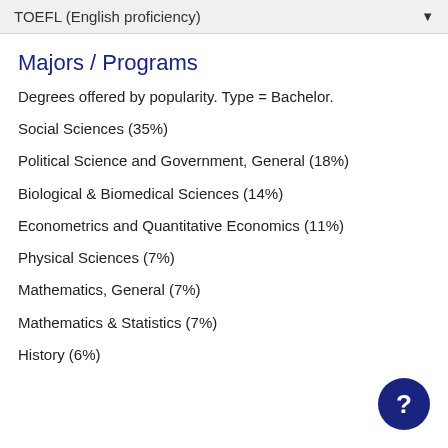TOEFL (English proficiency) ▼
Majors / Programs
Degrees offered by popularity. Type = Bachelor.
Social Sciences (35%)
Political Science and Government, General (18%)
Biological & Biomedical Sciences (14%)
Econometrics and Quantitative Economics (11%)
Physical Sciences (7%)
Mathematics, General (7%)
Mathematics & Statistics (7%)
History (6%)